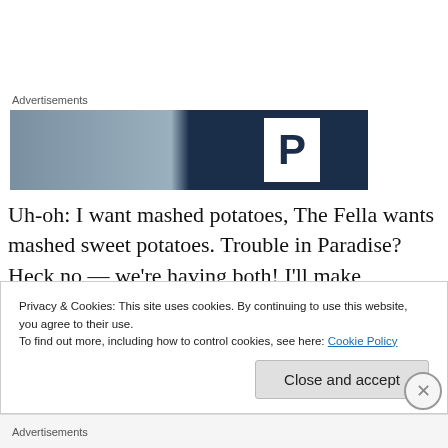Advertisements
[Figure (photo): Advertisement banner with blurred building photo on the left and dark navy background with large white letter P on the right]
Uh-oh: I want mashed potatoes, The Fella wants mashed sweet potatoes. Trouble in Paradise? Heck no — we're having both! I'll make smashed Yukon Gold potatoes with scallions: steam the potatoes in shallow salted water until they slide off a sharp knife. (I learned that trick from
Privacy & Cookies: This site uses cookies. By continuing to use this website, you agree to their use.
To find out more, including how to control cookies, see here: Cookie Policy
Close and accept
Advertisements